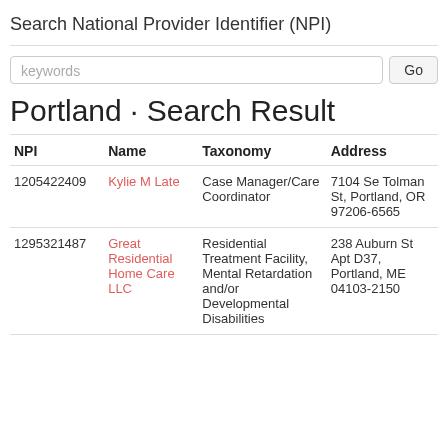Search National Provider Identifier (NPI)
| NPI | Name | Taxonomy | Address |
| --- | --- | --- | --- |
| 1205422409 | Kylie M Late | Case Manager/Care Coordinator | 7104 Se Tolman St, Portland, OR 97206-6565 |
| 1295321487 | Great Residential Home Care LLC | Residential Treatment Facility, Mental Retardation and/or Developmental Disabilities | 238 Auburn St Apt D37, Portland, ME 04103-2150 |